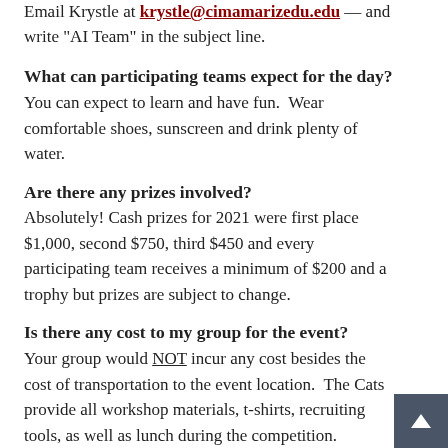Email Krystle at krystle@cimamarizedu.edu — and write "AI Team" in the subject line.
What can participating teams expect for the day?
You can expect to learn and have fun.  Wear comfortable shoes, sunscreen and drink plenty of water.
Are there any prizes involved?
Absolutely! Cash prizes for 2021 were first place $1,000, second $750, third $450 and every participating team receives a minimum of $200 and a trophy but prizes are subject to change.
Is there any cost to my group for the event?
Your group would NOT incur any cost besides the cost of transportation to the event location.  The Cats provide all workshop materials, t-shirts, recruiting tools, as well as lunch during the competition.
Who can participate?
High schools, community organizations, libraries, after school clubs, etc. are welcome to form a team.  Each team is required to